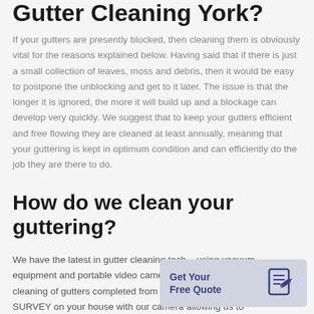Gutter Cleaning York?
If your gutters are presently blocked, then cleaning them is obviously vital for the reasons explained below. Having said that if there is just a small collection of leaves, moss and debris, then it would be easy to postpone the unblocking and get to it later. The issue is that the longer it is ignored, the more it will build up and a blockage can develop very quickly. We suggest that to keep your gutters efficient and free flowing they are cleaned at least annually, meaning that your guttering is kept in optimum condition and can efficiently do the job they are there to do.
How do we clean your guttering?
We have the latest in gutter cleaning tech – using vacuum equipment and portable video cameras to make the survey and cleaning of gutters completed from the ground. We will per... SURVEY on your house with our camera allowing us to...
[Figure (other): Get Your Free Quote call-to-action button with document/pen icon]